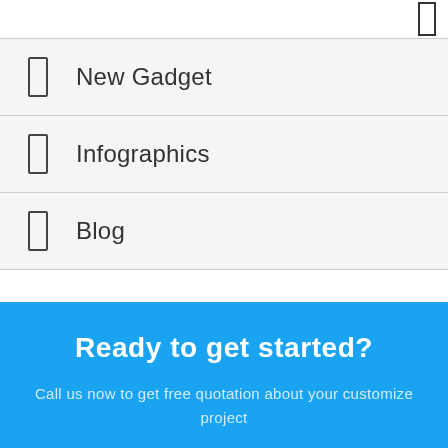New Gadget
Infographics
Blog
Ready to get started?
Call us now to get free quotation about your customize project